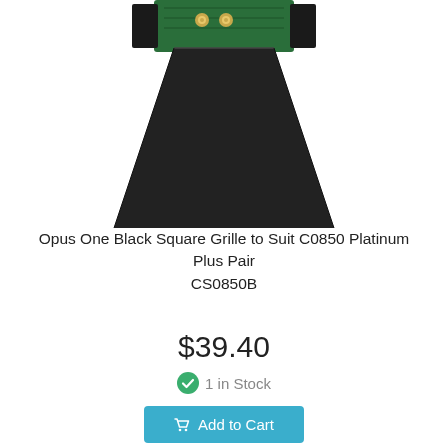[Figure (photo): Product photo of Opus One Black Square Grille speaker, viewed from above/back, showing black trapezoidal grille frame with green circuit board and gold binding posts visible at top]
Opus One Black Square Grille to Suit C0850 Platinum Plus Pair CS0850B
$39.40
1 in Stock
Add to Cart